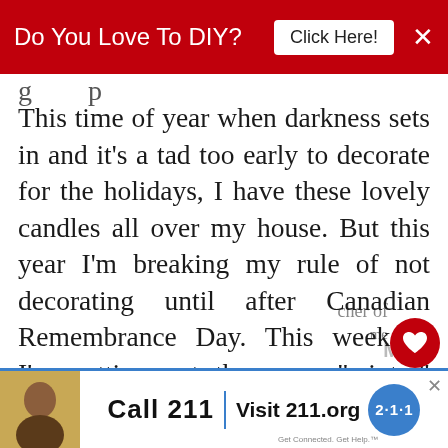Do You Love To DIY? [Click Here!] ×
This time of year when darkness sets in and it's a tad too early to decorate for the holidays, I have these lovely candles all over my house. But this year I'm breaking my rule of not decorating until after Canadian Remembrance Day. This weekend I'm putting out the more "wint[er]" holiday decor like lighted tabletop trees, snowflake decor, and co[zy] faux fur blankets and pillow[s. I love] all the ideas you've shared[.] I'm swooning over the tapered wood [...]
[Figure (screenshot): Partial 'What's Next' thumbnail showing 11 Fabulous Fall Home... article]
Call 211 | Visit 211.org [2·1·1 logo] — bottom advertisement banner